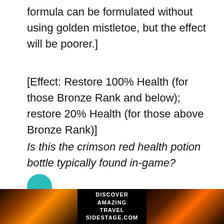formula can be formulated without using golden mistletoe, but the effect will be poorer.]
[Effect: Restore 100% Health (for those Bronze Rank and below); restore 20% Health (for those above Bronze Rank)]
Is this the crimson red health potion bottle typically found in-game?
Annan opened his eyes widely.
[Figure (photo): Advertisement banner with sunset/travel images on left and right, text 'DISCOVER AMAZING TRAVEL SIDESTAGE.COM' in center on black background]